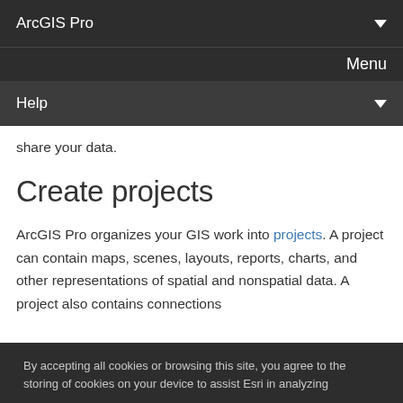ArcGIS Pro
Menu
Help
share your data.
Create projects
ArcGIS Pro organizes your GIS work into projects. A project can contain maps, scenes, layouts, reports, charts, and other representations of spatial and nonspatial data. A project also contains connections
By accepting all cookies or browsing this site, you agree to the storing of cookies on your device to assist Esri in analyzing